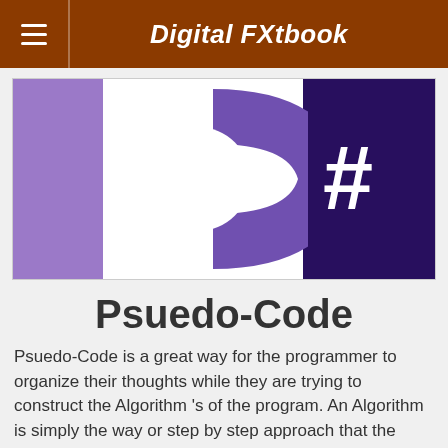Digital FXtbook
[Figure (logo): C# programming language logo with purple and dark purple color scheme, large stylized C with hash symbol]
Psuedo-Code
Psuedo-Code is a great way for the programmer to organize their thoughts while they are trying to construct the Algorithm 's of the program. An Algorithm is simply the way or step by step approach that the program goes about getting a job done. It is the method to get from the beginning to the end. When a programmer is tapping away it can be